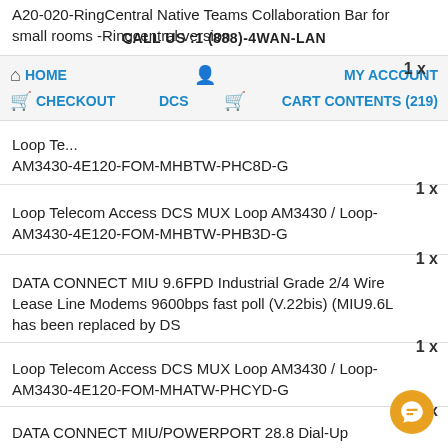A20-020-RingCentral Native Teams Collaboration Bar for small rooms -Ringcentral version
CALL US :1 (888)-4WAN-LAN
1 x
Loop Telecom Access DCS MUX Loop AM3430 / Loop-AM3430-4E120-FOM-MHBTW-PHC8D-G
1 x
Loop Telecom Access DCS MUX Loop AM3430 / Loop-AM3430-4E120-FOM-MHBTW-PHB3D-G
1 x
DATA CONNECT MIU 9.6FPD Industrial Grade 2/4 Wire Lease Line Modems 9600bps fast poll (V.22bis) (MIU9.6L has been replaced by DS
1 x
Loop Telecom Access DCS MUX Loop AM3430 / Loop-AM3430-4E120-FOM-MHATW-PHCYD-G
1 x
DATA CONNECT MIU/POWERPORT 28.8 Dial-Up Modem
1 x
DrayTek Vigor Fly 210 WiFi Router IPv6 Ready 3G / 4G LTE Enabled
1 x